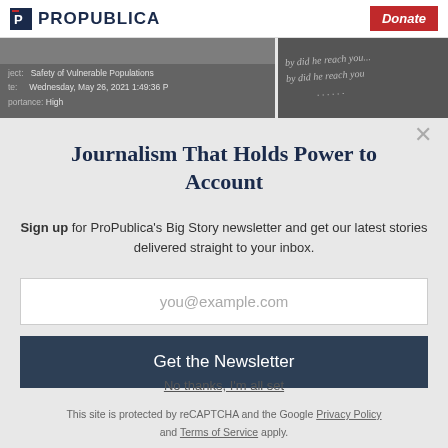ProPublica | Donate
[Figure (screenshot): Partial screenshot of an email or document header showing Subject: Safety of Vulnerable Populations, Date: Wednesday, May 26, 2021 1:49:36 PM, Importance: High, alongside a handwritten text image on the right]
Journalism That Holds Power to Account
Sign up for ProPublica's Big Story newsletter and get our latest stories delivered straight to your inbox.
you@example.com
Get the Newsletter
No thanks, I'm all set
This site is protected by reCAPTCHA and the Google Privacy Policy and Terms of Service apply.